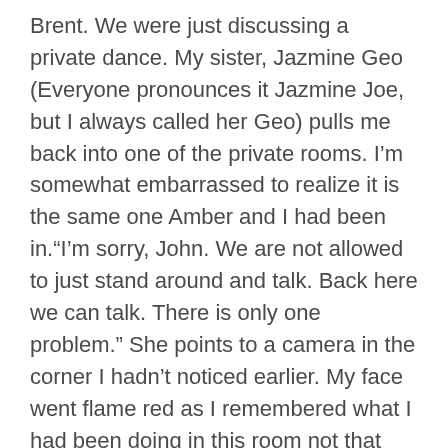Brent. We were just discussing a private dance. My sister, Jazmine Geo (Everyone pronounces it Jazmine Joe, but I always called her Geo) pulls me back into one of the private rooms. I'm somewhat embarrassed to realize it is the same one Amber and I had been in.“I’m sorry, John. We are not allowed to just stand around and talk. Back here we can talk. There is only one problem.” She points to a camera in the corner I hadn’t noticed earlier. My face went flame red as I remembered what I had been doing in this room not that long ago, and now I knew it had all been caught on tape.Geo must have misunderstood my reaction. “I know, it’s not what I would prefer either, but I am going to have to perform in here. We can talk while I do. You can’t tell our parents!”As she says this, she gets behind the divider, and begins to sway and move to the music that is coming from the